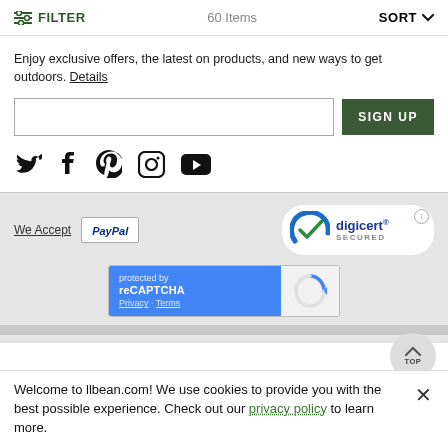FILTER   60 Items   SORT
Enjoy exclusive offers, the latest on products, and new ways to get outdoors. Details
SIGN UP
[Figure (infographic): Social media icons: Twitter, Facebook, Pinterest, Instagram, YouTube]
[Figure (logo): We Accept PayPal payment option and DigiCert Secured badge]
[Figure (infographic): reCAPTCHA protection widget with Privacy and Terms links]
Welcome to llbean.com! We use cookies to provide you with the best possible experience. Check out our privacy policy to learn more.